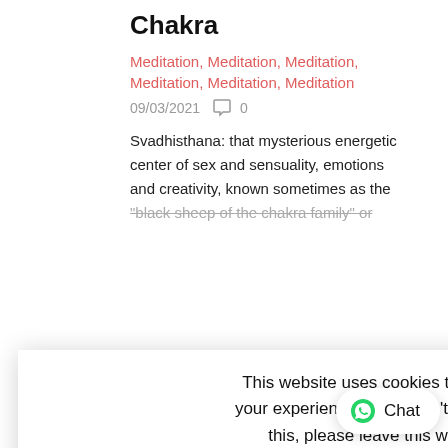Chakra
Meditation, Meditation, Meditation, Meditation, Meditation, Meditation
09/03/2021  0
Svadhisthana: that mysterious energetic center of sex and sensuality, emotions and creativity, known sometimes as the "black sheep of the chakra family" or
This website uses cookies to improve your experience. If you don't agree with this, please leave this website. Questo sito utilizza cookie per migliorare la tua esperienza. Se non sei d'accordo, per favore chiudi questa pagina.
ACCEPT / ACCETTA
not always the easiest to deal with, and